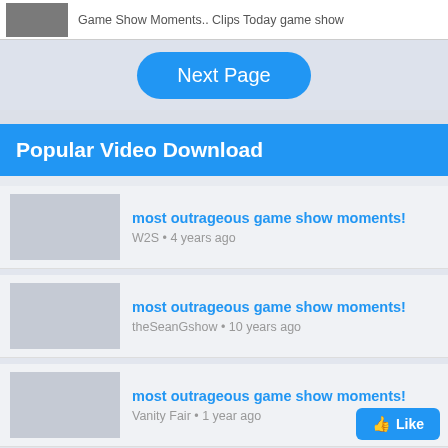[Figure (screenshot): Thumbnail of a game show video]
Game Show Moments.. Clips Today game show
Next Page
Popular Video Download
[Figure (photo): Video thumbnail placeholder]
most outrageous game show moments!
W2S • 4 years ago
[Figure (photo): Video thumbnail placeholder]
most outrageous game show moments!
theSeanGshow • 10 years ago
[Figure (photo): Video thumbnail placeholder]
most outrageous game show moments!
Vanity Fair • 1 year ago
[Figure (photo): Video thumbnail placeholder]
most outrageous game show moments!